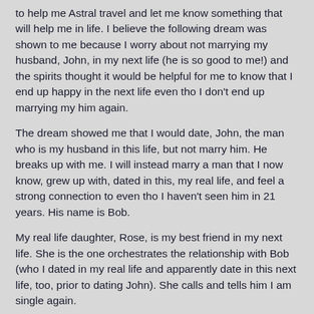to help me Astral travel and let me know something that will help me in life. I believe the following dream was shown to me because I worry about not marrying my husband, John, in my next life (he is so good to me!) and the spirits thought it would be helpful for me to know that I end up happy in the next life even tho I don't end up marrying my him again.
The dream showed me that I would date, John, the man who is my husband in this life, but not marry him. He breaks up with me. I will instead marry a man that I now know, grew up with, dated in this, my real life, and feel a strong connection to even tho I haven't seen him in 21 years. His name is Bob.
My real life daughter, Rose, is my best friend in my next life. She is the one orchestrates the relationship with Bob (who I dated in my real life and apparently date in this next life, too, prior to dating John). She calls and tells him I am single again.
Bob and I get together & immediately realize that we are to be together forever. It is an emotional revelation complete with tears and exclamations ("I can't believe it!" and "I've always love you, too!").
It is impressed upon me, without words, that I will be very happy